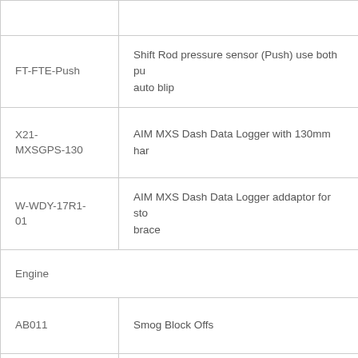| Part Code | Description |
| --- | --- |
|  |  |
| FT-FTE-Push | Shift Rod pressure sensor (Push) use both pu... auto blip |
| X21-MXSGPS-130 | AIM MXS Dash Data Logger with 130mm har... |
| W-WDY-17R1-01 | AIM MXS Dash Data Logger addaptor for sto... brace |
| Engine |  |
| AB011 | Smog Block Offs |
|  |  |